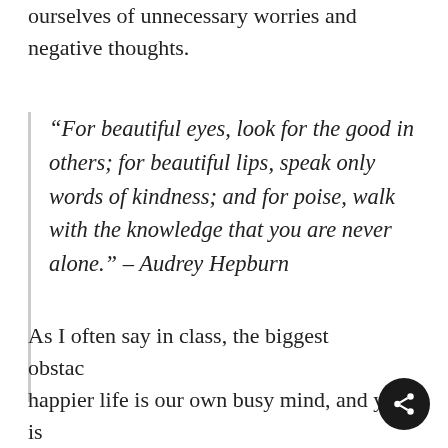ourselves of unnecessary worries and negative thoughts.
“For beautiful eyes, look for the good in others; for beautiful lips, speak only words of kindness; and for poise, walk with the knowledge that you are never alone.” – Audrey Hepburn
As I often say in class, the biggest obstac happier life is our own busy mind, and yoga is